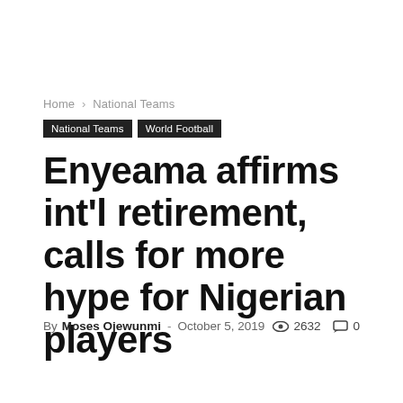Home › National Teams
National Teams   World Football
Enyeama affirms int'l retirement, calls for more hype for Nigerian players
By Moses Ojewunmi - October 5, 2019   2632   0